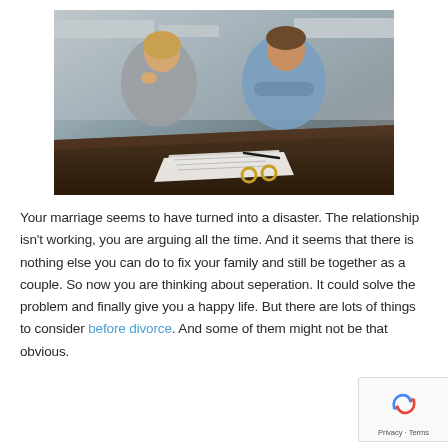[Figure (photo): A couple sitting at a table with divorce papers and two gold wedding rings. The woman on the left has her hand on her chin looking thoughtful, wearing a grey blazer. The man on the right has his arms crossed, wearing a blue shirt. Kitchen background.]
Your marriage seems to have turned into a disaster. The relationship isn't working, you are arguing all the time. And it seems that there is nothing else you can do to fix your family and still be together as a couple. So now you are thinking about seperation. It could solve the problem and finally give you a happy life. But there are lots of things to consider before divorce. And some of them might not be that obvious.